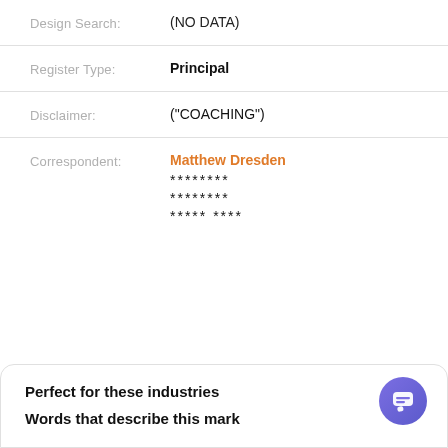Design Search: (NO DATA)
Register Type: Principal
Disclaimer: ("COACHING")
Correspondent: Matthew Dresden
********
********
***** ****
Perfect for these industries
Words that describe this mark